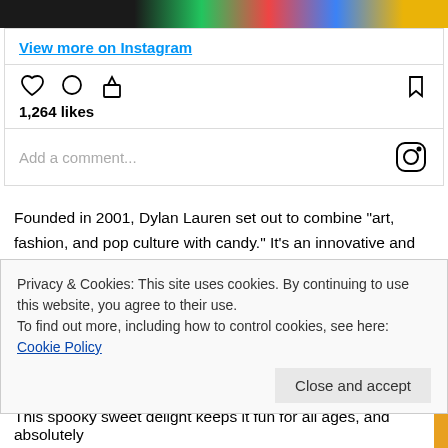[Figure (screenshot): Colorful image strip at top of Instagram embed showing vibrant colors]
View more on Instagram
[Figure (screenshot): Instagram action icons: heart, comment, share, bookmark]
1,264 likes
Add a comment...
Founded in 2001, Dylan Lauren set out to combine "art, fashion, and pop culture with candy." It's an innovative and forward-thinking company that now services New York in two locations, Chicago, Miami, and Los Angeles. They boast over 7,000 different creations and a handful of celebrities who sing their praises. It makes sense why they branched into Halloween treats: there's a wide audience
Privacy & Cookies: This site uses cookies. By continuing to use this website, you agree to their use.
To find out more, including how to control cookies, see here: Cookie Policy
Close and accept
This spooky sweet delight keeps it fun for all ages, and absolutely